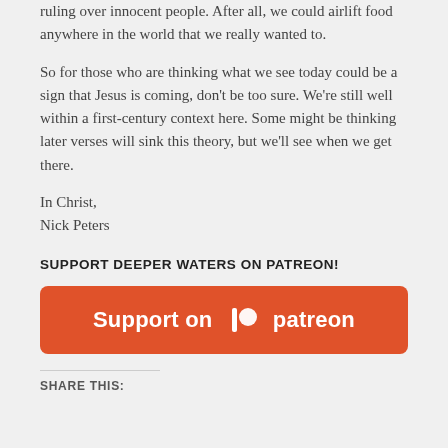ruling over innocent people. After all, we could airlift food anywhere in the world that we really wanted to.
So for those who are thinking what we see today could be a sign that Jesus is coming, don’t be too sure. We’re still well within a first-century context here. Some might be thinking later verses will sink this theory, but we’ll see when we get there.
In Christ,
Nick Peters
SUPPORT DEEPER WATERS ON PATREON!
[Figure (other): Patreon support button: orange rounded rectangle with white text reading 'Support on patreon' with Patreon logo icon]
SHARE THIS: